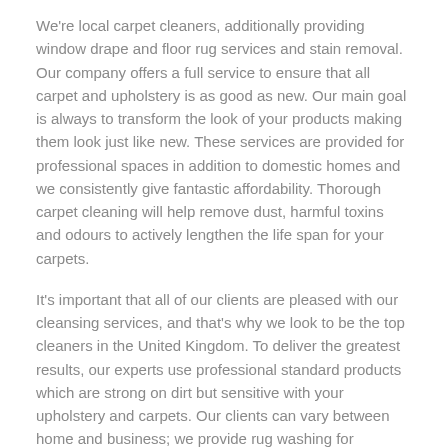We're local carpet cleaners, additionally providing window drape and floor rug services and stain removal. Our company offers a full service to ensure that all carpet and upholstery is as good as new. Our main goal is always to transform the look of your products making them look just like new. These services are provided for professional spaces in addition to domestic homes and we consistently give fantastic affordability. Thorough carpet cleaning will help remove dust, harmful toxins and odours to actively lengthen the life span for your carpets.
It's important that all of our clients are pleased with our cleansing services, and that's why we look to be the top cleaners in the United Kingdom. To deliver the greatest results, our experts use professional standard products which are strong on dirt but sensitive with your upholstery and carpets. Our clients can vary between home and business; we provide rug washing for everyone who requires it. If you'd like to discuss our carpet cleaning services in Blyford, please fill in our contact form or call us.
Carpet Cleaning Services Near Me
Since we're a professional carpet and upholstery cleaning agency